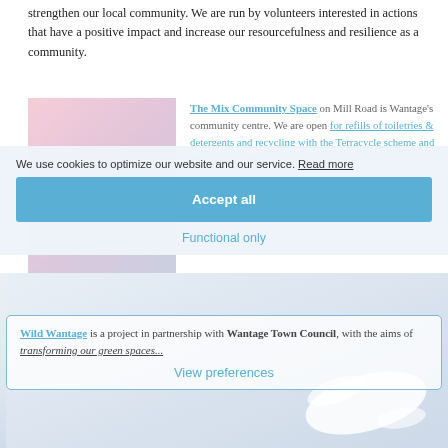strengthen our local community. We are run by volunteers interested in actions that have a positive impact and increase our resourcefulness and resilience as a community.
[Figure (photo): Blurred photo placeholder with pink and lavender tones on the left side of the page]
The Mix Community Space on Mill ... centre. We are open for refills of toiletries & detergents and recycling with the Terracycle scheme and the ...unity Fridge.
We use cookies to optimize our website and our service. Read more
Accept all
Functional only
Wild Wantage is a project in partnership with Wantage Town Council, with the aims of transforming our green spaces...
View preferences
[Figure (photo): Light blue-grey bottom strip with partial white bird illustration on the right]